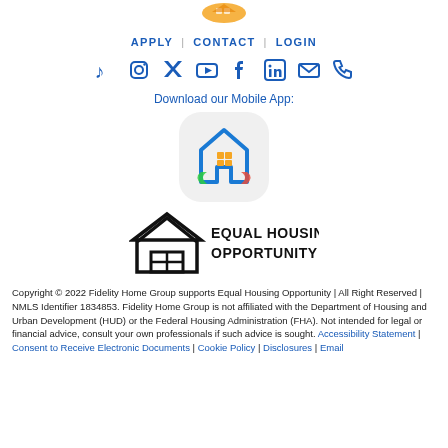[Figure (logo): Fidelity Home Group logo (partial, top)]
APPLY | CONTACT | LOGIN
[Figure (infographic): Social media icons row: TikTok, Instagram, Twitter, YouTube, Facebook, LinkedIn, Email, Phone]
Download our Mobile App:
[Figure (logo): Mobile app icon: house with colorful elements on light grey rounded square background]
[Figure (logo): Equal Housing Opportunity logo with text EQUAL HOUSING OPPORTUNITY]
Copyright © 2022 Fidelity Home Group supports Equal Housing Opportunity | All Right Reserved  | NMLS Identifier 1834853. Fidelity Home Group is not affiliated with the Department of Housing and Urban Development (HUD) or the Federal Housing Administration (FHA). Not intended for legal or financial advice, consult your own professionals if such advice is sought. Accessibility Statement | Consent to Receive Electronic Documents | Cookie Policy | Disclosures | Email